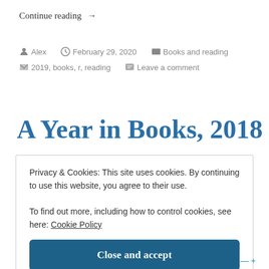Continue reading →
Alex   February 29, 2020   Books and reading
2019, books, r, reading   Leave a comment
A Year in Books, 2018
Privacy & Cookies: This site uses cookies. By continuing to use this website, you agree to their use.
To find out more, including how to control cookies, see here: Cookie Policy
Close and accept